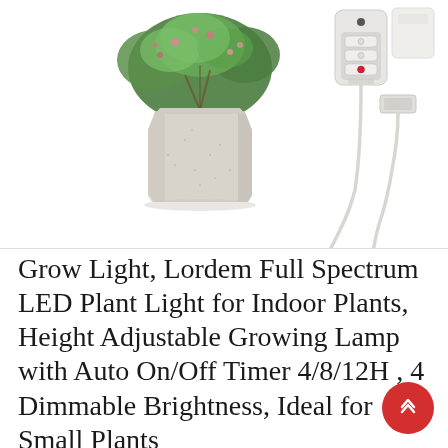[Figure (photo): Product photo showing a plant in a geometric concrete pot on the left, and grow light components (USB controller with buttons and USB cable) on the right, all on white background.]
Grow Light, Lordem Full Spectrum LED Plant Light for Indoor Plants, Height Adjustable Growing Lamp with Auto On/Off Timer 4/8/12H , 4 Dimmable Brightness, Ideal for Small Plants